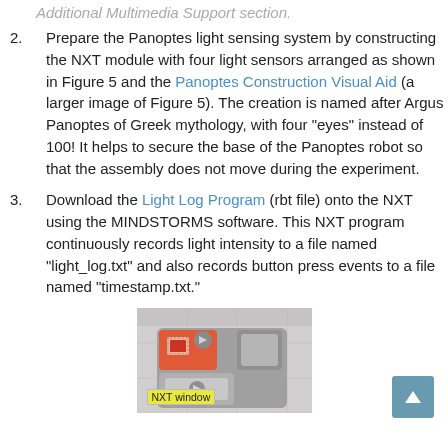Prepare the Panoptes light sensing system by constructing the NXT module with four light sensors arranged as shown in Figure 5 and the Panoptes Construction Visual Aid (a larger image of Figure 5). The creation is named after Argus Panoptes of Greek mythology, with four "eyes" instead of 100! It helps to secure the base of the Panoptes robot so that the assembly does not move during the experiment.
Download the Light Log Program (rbt file) onto the NXT using the MINDSTORMS software. This NXT program continuously records light intensity to a file named "light_log.txt" and also records button press events to a file named "timestamp.txt."
[Figure (screenshot): Screenshot of MINDSTORMS NXT programming interface showing a program block with an orange/red block and grey blocks. Label 'NXT window' indicated with yellow highlight.]